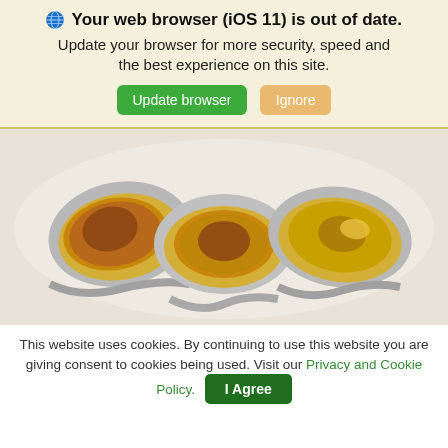🌐 Your web browser (iOS 11) is out of date. Update your browser for more security, speed and the best experience on this site. [Update browser] [Ignore]
[Figure (photo): Three metal spoons arranged side by side on a white surface, each containing a mixture of golden honey and brown cinnamon powder.]
This website uses cookies. By continuing to use this website you are giving consent to cookies being used. Visit our Privacy and Cookie Policy. [I Agree]